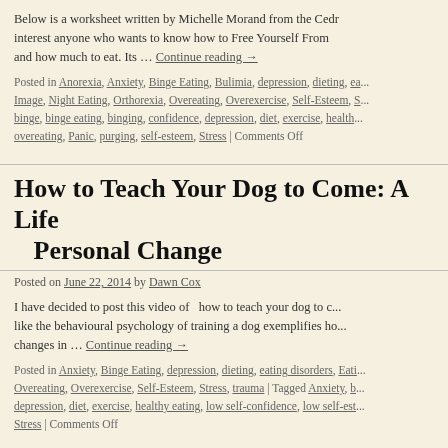Below is a worksheet written by Michelle Morand from the Cedr... interest anyone who wants to know how to Free Yourself From ... and how much to eat. Its … Continue reading →
Posted in Anorexia, Anxiety, Binge Eating, Bulimia, depression, dieting, ea... Image, Night Eating, Orthorexia, Overeating, Overexercise, Self-Esteem, S... binge, binge eating, binging, confidence, depression, diet, exercise, health... overeating, Panic, purging, self-esteem, Stress | Comments Off
How to Teach Your Dog to Come: A Life... Personal Change
Posted on June 22, 2014 by Dawn Cox
I have decided to post this video of  how to teach your dog to c... like the behavioural psychology of training a dog exemplifies ho... changes in … Continue reading →
Posted in Anxiety, Binge Eating, depression, dieting, eating disorders, Eati... Overeating, Overexercise, Self-Esteem, Stress, trauma | Tagged Anxiety, b... depression, diet, exercise, healthy eating, low self-confidence, low self-est... Stress | Comments Off